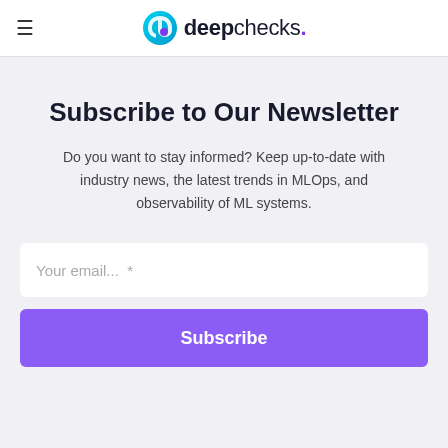deepchecks.
Subscribe to Our Newsletter
Do you want to stay informed? Keep up-to-date with industry news, the latest trends in MLOps, and observability of ML systems.
Your email...  *
Subscribe